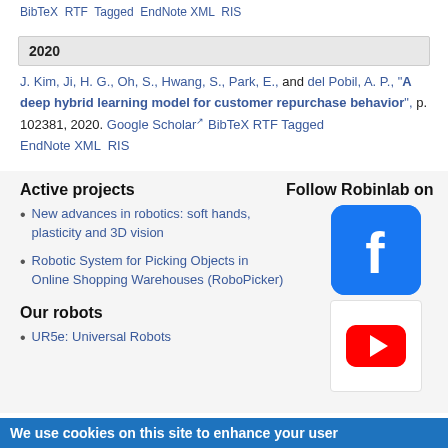BibTeX  RTF  Tagged  EndNote XML  RIS
2020
J. Kim, Ji, H. G., Oh, S., Hwang, S., Park, E., and del Pobil, A. P., "A deep hybrid learning model for customer repurchase behavior", p. 102381, 2020. Google Scholar BibTeX RTF Tagged EndNote XML RIS
Active projects
New advances in robotics: soft hands, plasticity and 3D vision
Robotic System for Picking Objects in Online Shopping Warehouses (RoboPicker)
Our robots
UR5e: Universal Robots
Follow Robinlab on
[Figure (logo): Facebook logo icon - blue rounded square with white 'f' letter]
[Figure (logo): YouTube logo icon - white box with red play button]
We use cookies on this site to enhance your user